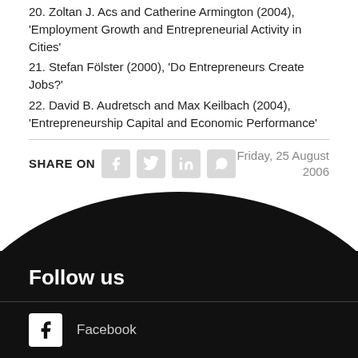20. Zoltan J. Acs and Catherine Armington (2004), 'Employment Growth and Entrepreneurial Activity in Cities'
21. Stefan Fölster (2000), 'Do Entrepreneurs Create Jobs?'
22. David B. Audretsch and Max Keilbach (2004), 'Entrepreneurship Capital and Economic Performance'
SHARE ON   Friday, 25 August 2006
Follow us
Facebook